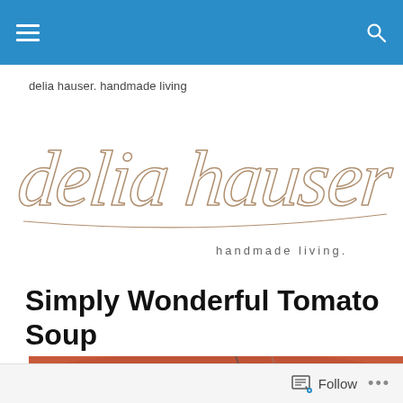Navigation bar with menu and search icons
delia hauser. handmade living
[Figure (logo): Cursive handwritten signature logo reading 'delia hauser' with 'handmade living.' text below in small caps]
Simply Wonderful Tomato Soup
[Figure (photo): Photo of tomato soup in a bowl, warm orange-red color]
Follow ...